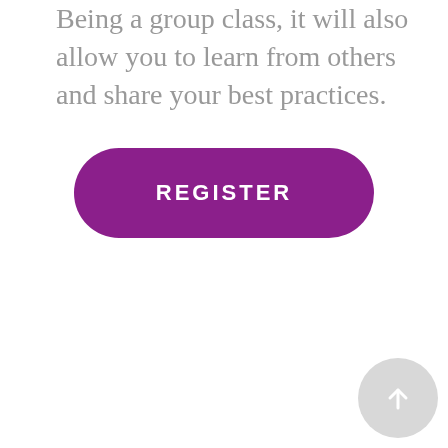Being a group class, it will also allow you to learn from others and share your best practices.
[Figure (other): Purple rounded rectangle button with white uppercase text reading REGISTER]
[Figure (other): Light gray circular scroll-to-top button with white upward arrow icon in bottom-right corner]